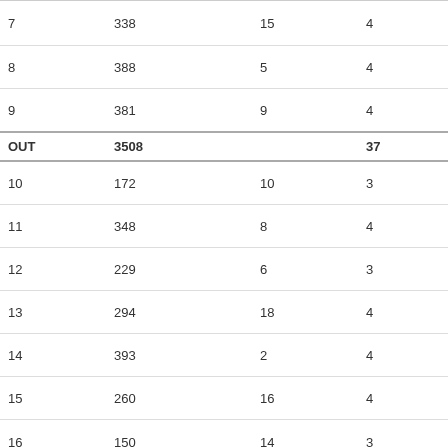| Hole | Yards | HCP | Par | Score |
| --- | --- | --- | --- | --- |
| 7 | 338 | 15 | 4 | 4 |
| 8 | 388 | 5 | 4 | 5 |
| 9 | 381 | 9 | 4 | 5 |
| OUT | 3508 |  | 37 | 42 |
| 10 | 172 | 10 | 3 | 4 |
| 11 | 348 | 8 | 4 | 5 |
| 12 | 229 | 6 | 3 | 4 |
| 13 | 294 | 18 | 4 | 5 |
| 14 | 393 | 2 | 4 | 6 |
| 15 | 260 | 16 | 4 | 5 |
| 16 | 150 | 14 | 3 | 3 |
| 17 | 458 | 4 | 4 | 5 |
| 18 | 550 | 12 | 5 | 6 |
| IN | 2854 |  | 34 | 43 |
| TOTAL | 6362 |  | 71 | 85 |
Result: Gross 85